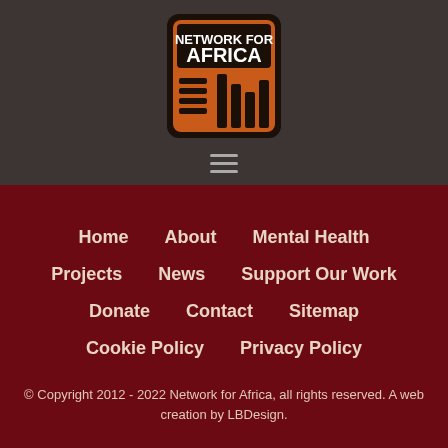[Figure (logo): Network for Africa logo - orange and black square with text 'NETWORK FOR AFRICA' and stylized cityscape/bars graphic in orange]
≡
Home
About
Mental Health
Projects
News
Support Our Work
Donate
Contact
Sitemap
Cookie Policy
Privacy Policy
© Copyright 2012 - 2022 Network for Africa, all rights reserved. A web creation by LBDesign.